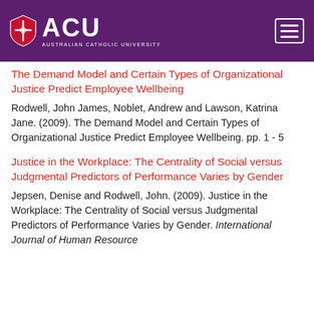[Figure (logo): Australian Catholic University (ACU) logo with shield emblem on purple header bar with hamburger menu icon]
The Demand Model and Certain Types of Organizational Justice Predict Employee Wellbeing
Rodwell, John James, Noblet, Andrew and Lawson, Katrina Jane. (2009). The Demand Model and Certain Types of Organizational Justice Predict Employee Wellbeing. pp. 1 - 5
Justice in the Workplace: The Centrality of Social versus Judgmental Predictors of Performance Varies by Gender
Jepsen, Denise and Rodwell, John. (2009). Justice in the Workplace: The Centrality of Social versus Judgmental Predictors of Performance Varies by Gender. International Journal of Human Resource